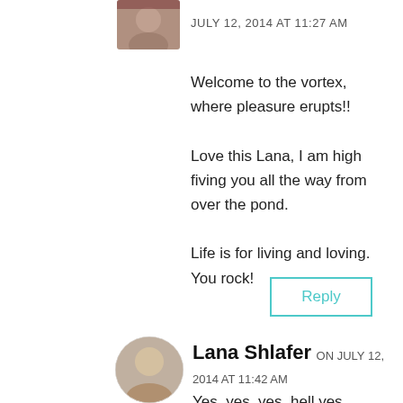[Figure (photo): Small avatar photo of a person, partially visible at top]
JULY 12, 2014 AT 11:27 AM
Welcome to the vortex, where pleasure erupts!!

Love this Lana, I am high fiving you all the way from over the pond.

Life is for living and loving. You rock!
Reply
[Figure (photo): Avatar photo of Lana Shlafer, a woman with blonde hair]
Lana Shlafer ON JULY 12, 2014 AT 11:42 AM
Yes, yes, yes, hell yes, Abigail! Joy